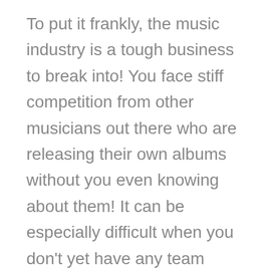To put it frankly, the music industry is a tough business to break into! You face stiff competition from other musicians out there who are releasing their own albums without you even knowing about them! It can be especially difficult when you don't yet have any team members working with you so that they could take on some of these tasks for themselves while freeing up more time for you to create your next masterpiece – but hopefully, this article has given listeners insight as to how dedicated and hard-working an artist truly must be in order to make something great happen in such a competitive field like ours.